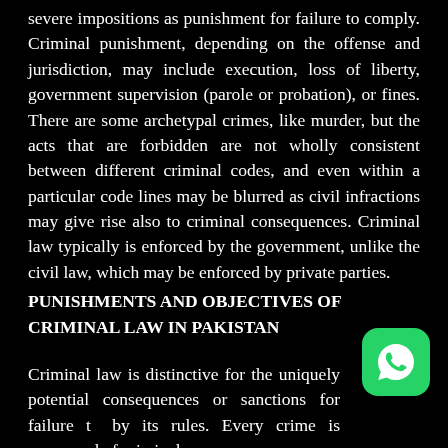severe impositions as punishment for failure to comply. Criminal punishment, depending on the offense and jurisdiction, may include execution, loss of liberty, government supervision (parole or probation), or fines. There are some archetypal crimes, like murder, but the acts that are forbidden are not wholly consistent between different criminal codes, and even within a particular code lines may be blurred as civil infractions may give rise also to criminal consequences. Criminal law typically is enforced by the government, unlike the civil law, which may be enforced by private parties.
PUNISHMENTS AND OBJECTIVES OF CRIMINAL LAW IN PAKISTAN
Criminal law is distinctive for the uniquely potential consequences or sanctions for failure to abide by its rules. Every crime is composed of criminal